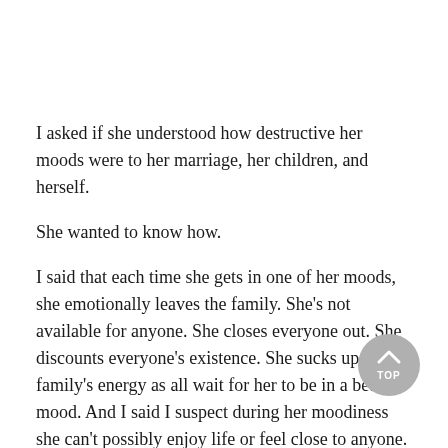I asked if she understood how destructive her moods were to her marriage, her children, and herself.
She wanted to know how.
I said that each time she gets in one of her moods, she emotionally leaves the family. She's not available for anyone. She closes everyone out. She discounts everyone's existence. She sucks up the family's energy as all wait for her to be in a better mood. And I said I suspect during her moodiness she can't possibly enjoy life or feel close to anyone.
She asked what she could do about her moods. I said she'd have to want to make a change. And I wasn't so sure she was ready. She agreed.